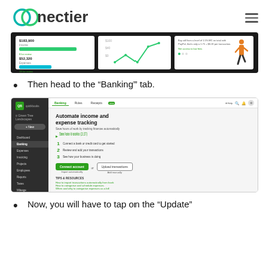[Figure (logo): Connectier logo with circular icon on left and text 'nectier']
[Figure (screenshot): QuickBooks dashboard screenshot showing income/expense bars and a line chart]
Then head to the “Banking” tab.
[Figure (screenshot): QuickBooks Banking tab screenshot showing 'Automate income and expense tracking' page with sidebar navigation, steps 1-2-3, Connect account and Upload transactions buttons, and tips & resources section]
Now, you will have to tap on the “Update”